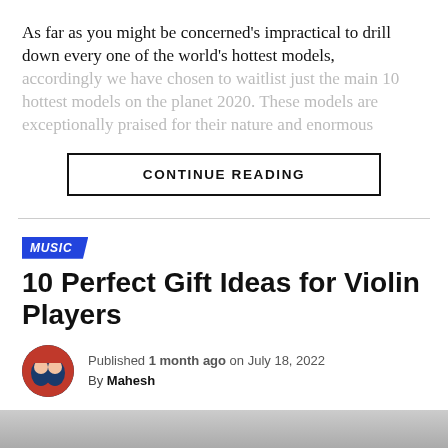As far as you might be concerned’s impractical to drill down every one of the world’s hottest models, accordingly we have chosen to waitlist just the main 10 hottest models on the planet 2020. These models are exceptionally praised for their nature and enormous...
CONTINUE READING
MUSIC
10 Perfect Gift Ideas for Violin Players
Published 1 month ago on July 18, 2022
By Mahesh
[Figure (photo): Bottom decorative image strip, metallic grey gradient texture]